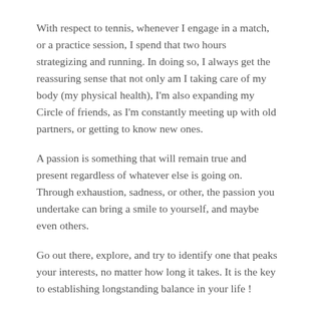With respect to tennis, whenever I engage in a match, or a practice session, I spend that two hours strategizing and running. In doing so, I always get the reassuring sense that not only am I taking care of my body (my physical health), I'm also expanding my Circle of friends, as I'm constantly meeting up with old partners, or getting to know new ones.
A passion is something that will remain true and present regardless of whatever else is going on. Through exhaustion, sadness, or other, the passion you undertake can bring a smile to yourself, and maybe even others.
Go out there, explore, and try to identify one that peaks your interests, no matter how long it takes. It is the key to establishing longstanding balance in your life !
-Cristina